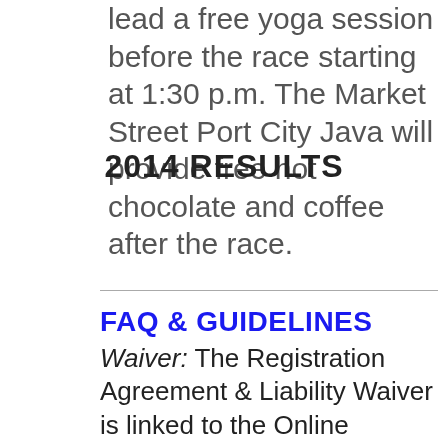lead a free yoga session before the race starting at 1:30 p.m. The Market Street Port City Java will provide free hot chocolate and coffee after the race.
2014 RESULTS
FAQ & GUIDELINES
Waiver: The Registration Agreement & Liability Waiver is linked to the Online Registration. This must be selected and approved during registration.
Packet Pick-Up: Family or Friends may